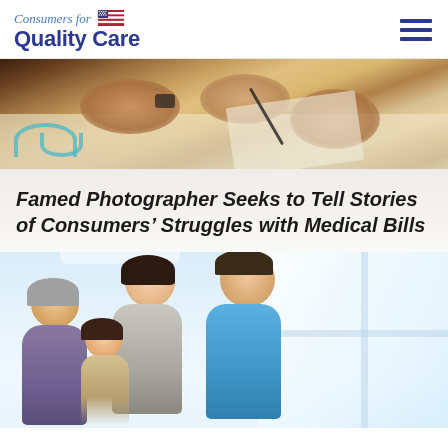Consumers for Quality Care
[Figure (photo): Close-up of hands at a desk, one person signing a medical document, stethoscope visible, healthcare consultation scene]
Famed Photographer Seeks to Tell Stories of Consumers' Struggles with Medical Bills
[Figure (photo): A smiling family group — woman, man, older man, and child — in a bright room with large windows, happy and looking at something together]